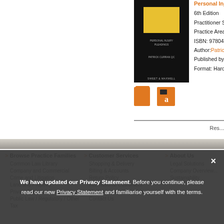[Figure (photo): Book cover for Personal Injury Pleadings, 6th Edition, black cover with yellow rectangle, Sweet & Maxwell publisher]
Personal Injury Plea...
6th Edition
Practitioner Series
Practice Area: Litigatio...
ISBN: 9780414077788
Author: Patrick Curran...
Published by Sweet &...
Format: Hardback, eB...
Res...
> Browse Practice Families
Common Law Library
Company and Commercial
Crime and Litigation
Land and Property
Private Client
Public Law / Regulatory / Other
Tax
> Customer Services
Shopping & Delivery
Billing & Accounts
Return Policy
International Customers
My Account Self Service
Contact Us
> About Us
Legal Solutions
Company Overview
Sustainability
We have updated our Privacy Statement. Before you continue, please read our new Privacy Statement and familiarise yourself with the terms.